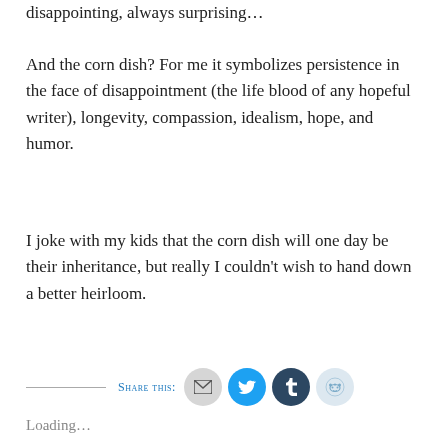disappointing, always surprising…
And the corn dish? For me it symbolizes persistence in the face of disappointment (the life blood of any hopeful writer), longevity, compassion, idealism, hope, and humor.
I joke with my kids that the corn dish will one day be their inheritance, but really I couldn't wish to hand down a better heirloom.
Share this:
Loading...